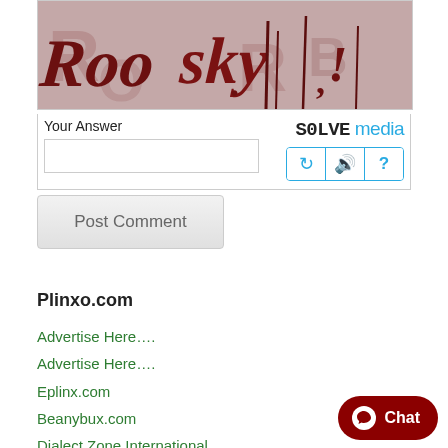[Figure (screenshot): CAPTCHA widget showing a stylized handwritten text on a dark pinkish-red background. Below the image: 'Your Answer' label with a text input box on the left, and 'SOLVE media' logo with refresh, audio, and help buttons on the right.]
[Figure (screenshot): Post Comment button — a light gray rounded rectangle button with the label 'Post Comment' in gray text.]
Plinxo.com
Advertise Here….
Advertise Here….
Eplinx.com
Beanybux.com
Dialect Zone International
WorkingTeddy.com
TikiFields.com